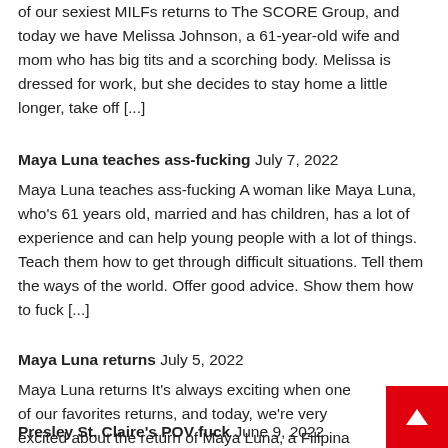of our sexiest MILFs returns to The SCORE Group, and today we have Melissa Johnson, a 61-year-old wife and mom who has big tits and a scorching body. Melissa is dressed for work, but she decides to stay home a little longer, take off [...]
Maya Luna teaches ass-fucking  July 7, 2022
Maya Luna teaches ass-fucking A woman like Maya Luna, who's 61 years old, married and has children, has a lot of experience and can help young people with a lot of things. Teach them how to get through difficult situations. Tell them the ways of the world. Offer good advice. Show them how to fuck [...]
Maya Luna returns  July 5, 2022
Maya Luna returns It's always exciting when one of our favorites returns, and today, we're very excited about the return of Maya Luna, a Filipina wife and mom who made a big splash a few years ago when she got DP'd by her step-son and his best friend. Today, Maya, who's now 61 years old, [...]
Presley St. Claire's POV fuck  June 9, 2022